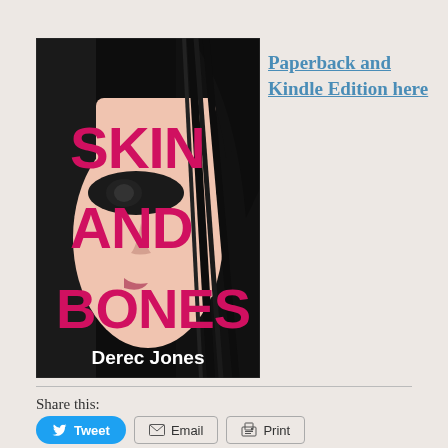[Figure (illustration): Book cover for 'Skin and Bones' by Derec Jones. Black background with a high-contrast face of a woman with dark hair covering half her face. Large bold pink/magenta text reads 'SKIN AND BONES' and white text at bottom reads 'Derec Jones'.]
Paperback and Kindle Edition here
Share this:
Tweet
Email
Print